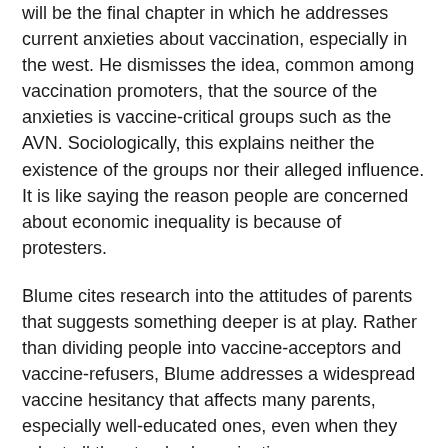will be the final chapter in which he addresses current anxieties about vaccination, especially in the west. He dismisses the idea, common among vaccination promoters, that the source of the anxieties is vaccine-critical groups such as the AVN. Sociologically, this explains neither the existence of the groups nor their alleged influence. It is like saying the reason people are concerned about economic inequality is because of protesters.
Blume cites research into the attitudes of parents that suggests something deeper is at play. Rather than dividing people into vaccine-acceptors and vaccine-refusers, Blume addresses a widespread vaccine hesitancy that affects many parents, especially well-educated ones, even when they adopt all the standard vaccinations.
Rather than vaccine-critical groups being the cause of vaccine hesitancy, it is better to understand them as a result of changed perceptions. Blume says vaccination has, for many